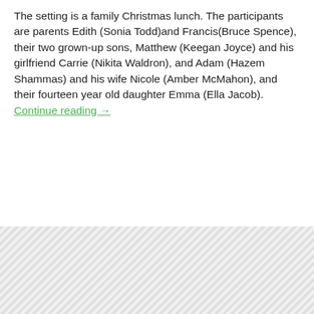The setting is a family Christmas lunch. The participants are parents Edith (Sonia Todd)and Francis(Bruce Spence), their two grown-up sons, Matthew (Keegan Joyce) and his girlfriend Carrie (Nikita Waldron), and Adam (Hazem Shammas) and his wife Nicole (Amber McMahon), and their fourteen year old daughter Emma (Ella Jacob). Continue reading →
AMBER MCMAHON
BRUCE SPENCE
CHARLES DAVIS
ELLA JACOB
HAZEM SHAMMAS
KEEGAN JOYCE
LAURA TURNER
NIKITA WALDRON
SONIA TODD
SYDNEY THEATRE COMPANY
[Figure (other): Hatched grey background pattern area at the bottom of the page]